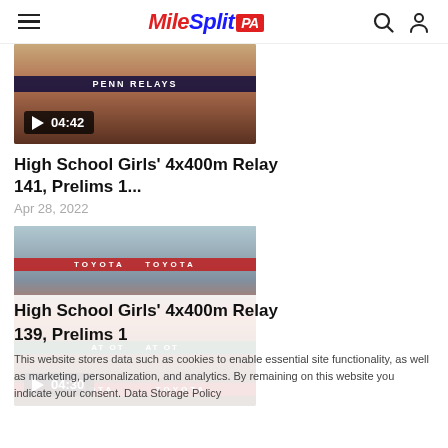MileSplit PA
[Figure (screenshot): Video thumbnail of track race at Penn Relays with play button and duration 04:42]
High School Girls' 4x400m Relay 141, Prelims 1...
Apr 28, 2022
[Figure (screenshot): Video thumbnail of track race with Toyota sponsorship banners, play button and duration 04:30]
High School Girls' 4x400m Relay
139, Prelims 1
This website stores data such as cookies to enable essential site functionality, as well as marketing, personalization, and analytics. By remaining on this website you indicate your consent. Data Storage Policy